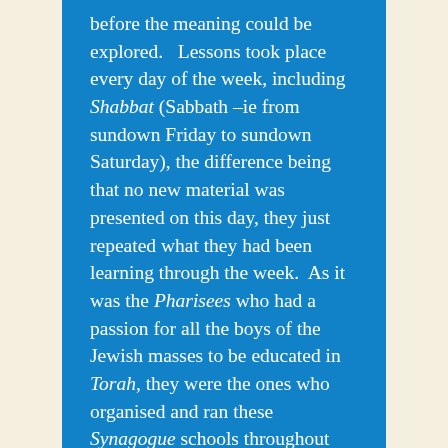before the meaning could be explored.   Lessons took place every day of the week, including Shabbat (Sabbath –ie from sundown Friday to sundown Saturday), the difference being that no new material was presented on this day, they just repeated what they had been learning through the week.  As it was the Pharisees who had a passion for all the boys of the Jewish masses to be educated in Torah, they were the ones who organised and ran these Synagogue schools throughout Israel and the diaspora.